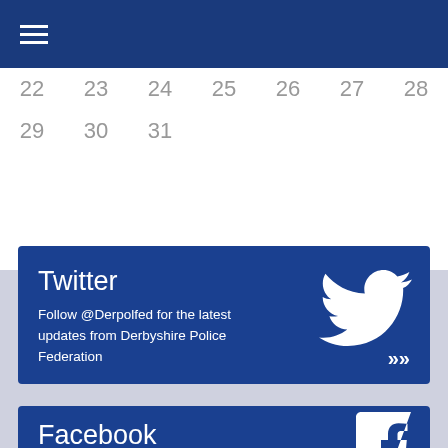| 22 | 23 | 24 | 25 | 26 | 27 | 28 |
| 29 | 30 | 31 |  |  |  |  |
[Figure (infographic): Twitter social media card with blue background, Twitter bird icon, title 'Twitter', text 'Follow @Derpolfed for the latest updates from Derbyshire Police Federation', and double chevron arrow]
[Figure (infographic): Facebook social media card with blue background, partial Facebook 'f' logo icon, title 'Facebook']